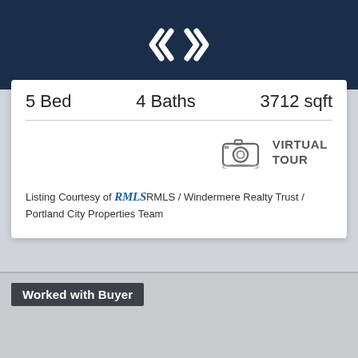[Figure (logo): Windermere or real estate agency logo — white double chevron/arrow icon on dark navy background]
5 Bed    4 Baths    3712 sqft
VIRTUAL TOUR
Listing Courtesy of RMLS RMLS / Windermere Realty Trust / Portland City Properties Team
Worked with Buyer